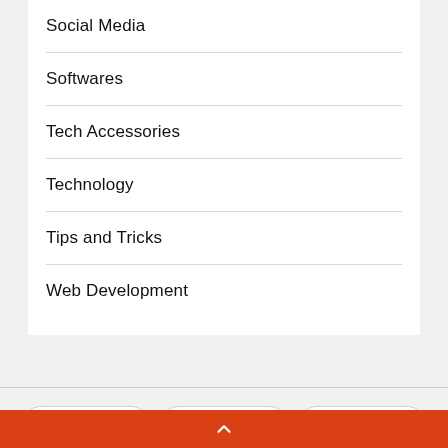Social Media
Softwares
Tech Accessories
Technology
Tips and Tricks
Web Development
FACEBOOK  TWITTER  PINTEREST